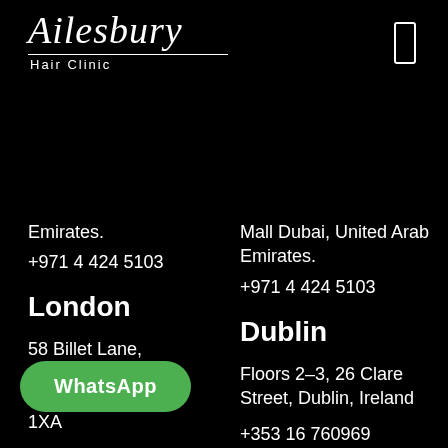[Figure (logo): Ailesbury Hair Clinic logo in white italic script on black background]
Emirates.
+971 4 424 5103
Mall Dubai, United Arab Emirates.
+971 4 424 5103
London
58 Billet Lane, Hornchurch, Essex, RM11 1XA
+44 1708 477 577
Dublin
Floors 2–3, 26 Clare Street, Dublin, Ireland
+353 16 760969
Cork
1st Floor, Westlink House, [Business] Park, Cork
WhatsApp